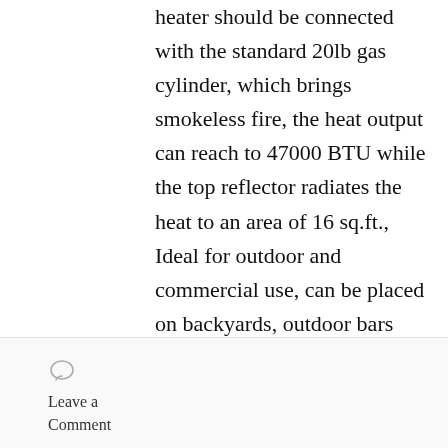heater should be connected with the standard 20lb gas cylinder, which brings smokeless fire, the heat output can reach to 47000 BTU while the top reflector radiates the heat to an area of 16 sq.ft., Ideal for outdoor and commercial use, can be placed on backyards, outdoor bars and restaurants, etc.
【Sturdy and Compact】The main body of the propane heater is made of sturdy steel, the furnace body is made of stainless steel. Multiple nuts and bolts
Leave a Comment